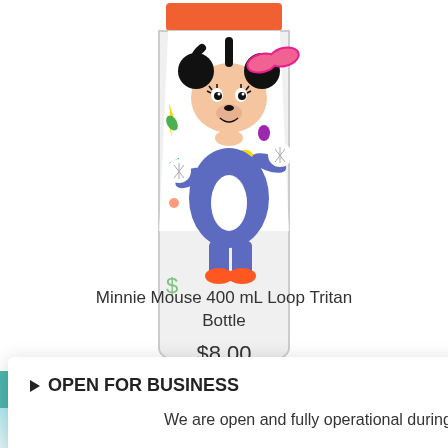[Figure (photo): Minnie Mouse 400mL Loop Tritan Bottle - bottom portion of the bottle showing Minnie Mouse character artwork with pink bow, blue outfit, colorful confetti shapes on a clear/white bottle body with orange top]
Minnie Mouse 400 mL Loop Tritan Bottle
$8.00
▶ OPEN FOR BUSINESS
We are open and fully operational during the COVID-19 crisis.
More Info